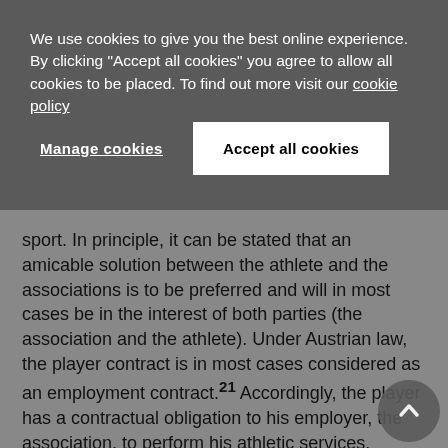We use cookies to give you the best online experience. By clicking "Accept all cookies" you agree to allow all cookies to be placed. To find out more visit our cookie policy
Manage cookies
Accept all cookies
sport. In principle, it can be stated that an amicable solution between the athlete and the associations is to be preferred and will in most cases be in the interest of both parties (the association and the athlete). Under Austrian law, the player contract is in most cases considered as an employment contract.21 Accordingly, the player has a contractual obligation to his employer, the association, to perform his athletic services. Conversely, the association has the